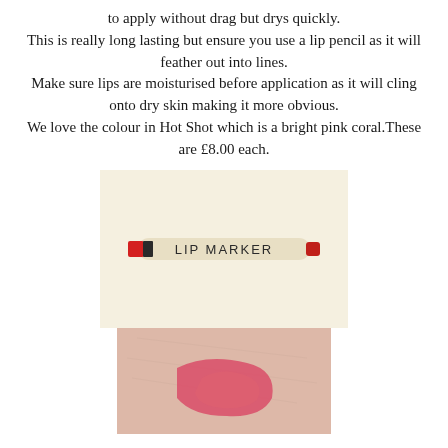to apply without drag but drys quickly. This is really long lasting but ensure you use a lip pencil as it will feather out into lines. Make sure lips are moisturised before application as it will cling onto dry skin making it more obvious. We love the colour in Hot Shot which is a bright pink coral.These are £8.00 each.
[Figure (photo): A lip marker product on a cream/beige background. The marker is cylindrical, cream-colored with a red tip on the left and a small red cap on the right. It has a black band near the tip and text reading 'LIP MARKER' in the center.]
[Figure (photo): A close-up swatch of a bright pink-coral lipstick color applied to skin, showing the texture of the product on skin.]